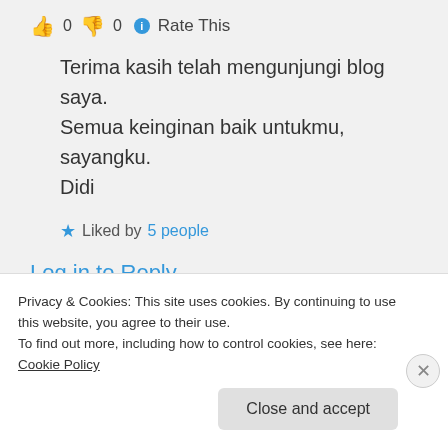👍 0 👎 0 ℹ Rate This
Terima kasih telah mengunjungi blog saya. Semua keinginan baik untukmu, sayangku. Didi
★ Liked by 5 people
Log in to Reply
Dela on 18/05/2017 at 09:55
Privacy & Cookies: This site uses cookies. By continuing to use this website, you agree to their use.
To find out more, including how to control cookies, see here: Cookie Policy
Close and accept